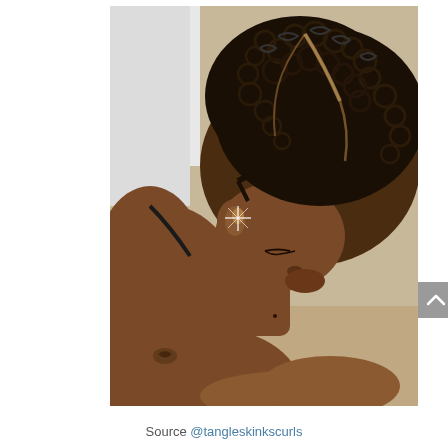[Figure (photo): A person with short natural coiled/twisted hair shown from a side/top angle, head bowed forward, resting on their arm. The hair shows defined curly twists. The background includes a white door and beige floor. A small scroll-up button (gray with a caret) is visible at the right edge.]
Source @tangleskinkscurls